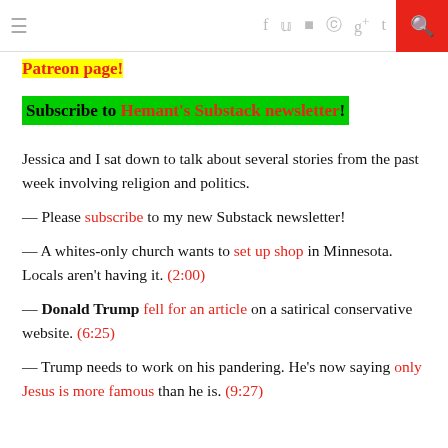≡  f y ▣ ⊕ g+ t ▶ )))  🔍
Patreon page!
Subscribe to Hemant's Substack newsletter!
Jessica and I sat down to talk about several stories from the past week involving religion and politics.
— Please subscribe to my new Substack newsletter!
— A whites-only church wants to set up shop in Minnesota. Locals aren't having it. (2:00)
— Donald Trump fell for an article on a satirical conservative website. (6:25)
— Trump needs to work on his pandering. He's now saying only Jesus is more famous than he is. (9:27)